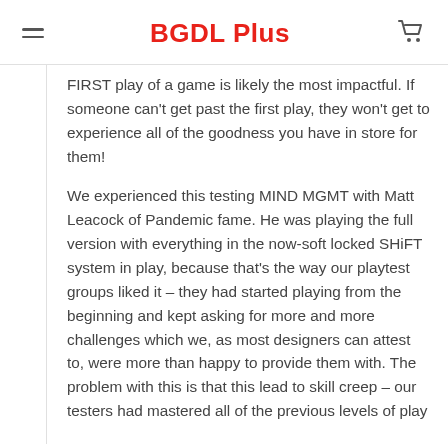BGDL Plus
FIRST play of a game is likely the most impactful. If someone can't get past the first play, they won't get to experience all of the goodness you have in store for them!
We experienced this testing MIND MGMT with Matt Leacock of Pandemic fame. He was playing the full version with everything in the now-soft locked SHiFT system in play, because that's the way our playtest groups liked it – they had started playing from the beginning and kept asking for more and more challenges which we, as most designers can attest to, were more than happy to provide them with. The problem with this is that this lead to skill creep – our testers had mastered all of the previous levels of play